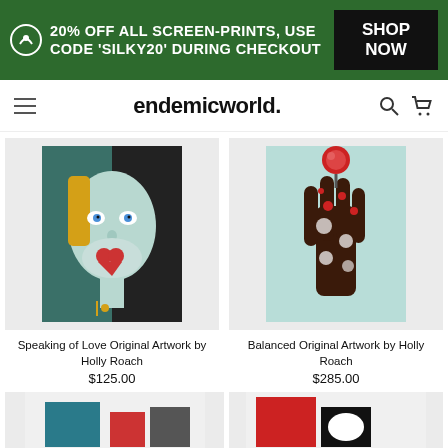20% OFF ALL SCREEN-PRINTS, USE CODE 'SILKY20' DURING CHECKOUT — SHOP NOW
endemicworld.
[Figure (photo): Artwork: Speaking of Love Original Artwork by Holly Roach — stylized face with yellow hair, teal background, blue eyes, red heart motif]
Speaking of Love Original Artwork by Holly Roach
$125.00
[Figure (photo): Artwork: Balanced Original Artwork by Holly Roach — decorative hand holding a red sphere, floral pattern, mint background]
Balanced Original Artwork by Holly Roach
$285.00
[Figure (photo): Partial view of a third artwork — teal and red geometric shapes visible at bottom]
[Figure (photo): Partial view of a fourth artwork — red and black shapes visible at bottom]